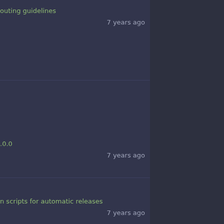outing guidelines
7 years ago
.0.0
7 years ago
n scripts for automatic releases
7 years ago